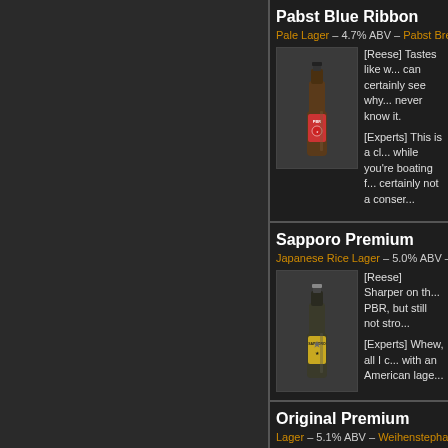Pabst Blue Ribbon
Pale Lager – 4.7% ABV – Pabst Brewing Co.
[Figure (photo): Bottle of Pabst Blue Ribbon beer on a wooden surface]
[Reese] Tastes like wa... can certainly see why... never know it.

[Experts] This is a cla... while you're boating f... certainly not a conser...
Sapporo Premium
Japanese Rice Lager – 5.0% ABV –
[Figure (photo): Bottle of Sapporo Premium beer]
[Reese] Sharper on th... PBR, but still not stro...

[Experts] Whew, all I c... with an American lage...
Original Premium
Lager – 5.1% ABV – Weihenstepha...
[Figure (photo): Bottle of Weihenstephaner Original Premium Lager]
[Reese] More of what... has a sweetness to it.

[Experts] Wow that is... the way the yeast and...